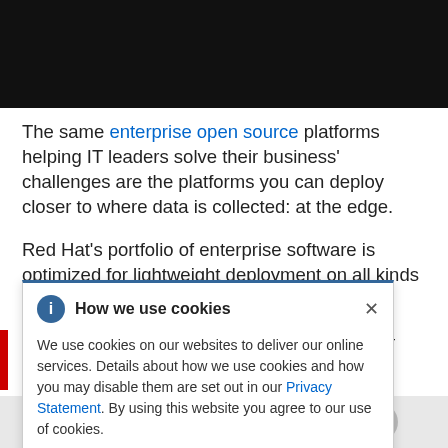[Figure (screenshot): Black navigation bar at the top of a Red Hat webpage]
The same enterprise open source platforms helping IT leaders solve their business' challenges are the platforms you can deploy closer to where data is collected: at the edge.
Red Hat's portfolio of enterprise software is optimized for lightweight deployment on all kinds of hardware, letting you p[artial text obscured] right place– t[o partial text obscured]
[Figure (screenshot): Cookie consent dialog overlay reading 'How we use cookies' with info icon and close button. Body text: We use cookies on our websites to deliver our online services. Details about how we use cookies and how you may disable them are set out in our Privacy Statement. By using this website you agree to our use of cookies.]